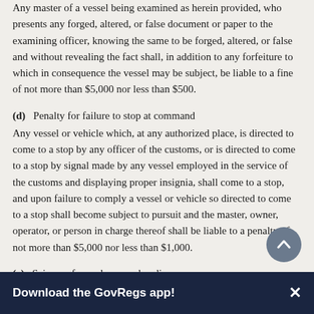Any master of a vessel being examined as herein provided, who presents any forged, altered, or false document or paper to the examining officer, knowing the same to be forged, altered, or false and without revealing the fact shall, in addition to any forfeiture to which in consequence the vessel may be subject, be liable to a fine of not more than $5,000 nor less than $500.
(d)   Penalty for failure to stop at command
Any vessel or vehicle which, at any authorized place, is directed to come to a stop by any officer of the customs, or is directed to come to a stop by signal made by any vessel employed in the service of the customs and displaying proper insignia, shall come to a stop, and upon failure to comply a vessel or vehicle so directed to come to a stop shall become subject to pursuit and the master, owner, operator, or person in charge thereof shall be liable to a penalty of not more than $5,000 nor less than $1,000.
(e)   Seizure of vessel or merchandise
If upon the examination of any vessel or vehicle it shall appear
Download the GovRegs app!